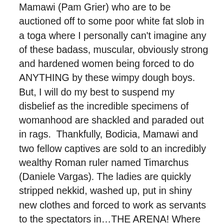Mamawi (Pam Grier) who are to be auctioned off to some poor white fat slob in a toga where I personally can't imagine any of these badass, muscular, obviously strong and hardened women being forced to do ANYTHING by these wimpy dough boys. But, I will do my best to suspend my disbelief as the incredible specimens of womanhood are shackled and paraded out in rags.  Thankfully, Bodicia, Mamawi and two fellow captives are sold to an incredibly wealthy Roman ruler named Timarchus (Daniele Vargas). The ladies are quickly stripped nekkid, washed up, put in shiny new clothes and forced to work as servants to the spectators in…THE ARENA! Where gladiators are forced to fight to the death night after night for the amusement of the fat, drunk wealthy pigs sitting up above the kill floor.

However, the crowds have grown bored with watching men fighting animals and other men so Timarchus is